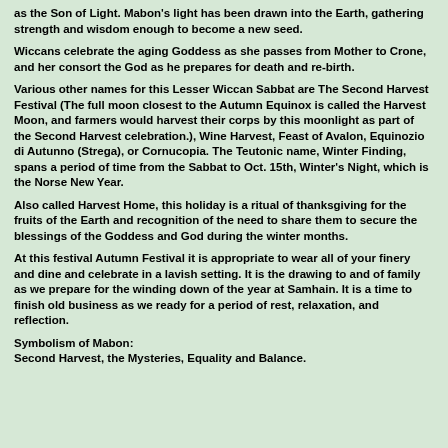as the Son of Light. Mabon's light has been drawn into the Earth, gathering strength and wisdom enough to become a new seed.
Wiccans celebrate the aging Goddess as she passes from Mother to Crone, and her consort the God as he prepares for death and re-birth.
Various other names for this Lesser Wiccan Sabbat are The Second Harvest Festival (The full moon closest to the Autumn Equinox is called the Harvest Moon, and farmers would harvest their corps by this moonlight as part of the Second Harvest celebration.), Wine Harvest, Feast of Avalon, Equinozio di Autunno (Strega), or Cornucopia. The Teutonic name, Winter Finding, spans a period of time from the Sabbat to Oct. 15th, Winter's Night, which is the Norse New Year.
Also called Harvest Home, this holiday is a ritual of thanksgiving for the fruits of the Earth and recognition of the need to share them to secure the blessings of the Goddess and God during the winter months.
At this festival Autumn Festival it is appropriate to wear all of your finery and dine and celebrate in a lavish setting. It is the drawing to and of family as we prepare for the winding down of the year at Samhain. It is a time to finish old business as we ready for a period of rest, relaxation, and reflection.
Symbolism of Mabon:
Second Harvest, the Mysteries, Equality and Balance.